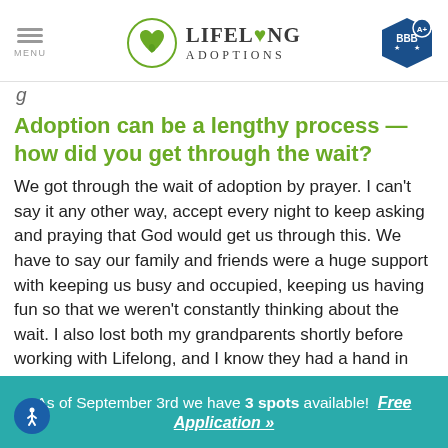MENU | LIFELONG ADOPTIONS | BBB A+
Adoption can be a lengthy process — how did you get through the wait?
We got through the wait of adoption by prayer. I can't say it any other way, accept every night to keep asking and praying that God would get us through this. We have to say our family and friends were a huge support with keeping us busy and occupied, keeping us having fun so that we weren't constantly thinking about the wait. I also lost both my grandparents shortly before working with Lifelong, and I know they had a hand in
As of September 3rd we have 3 spots available! Free Application »